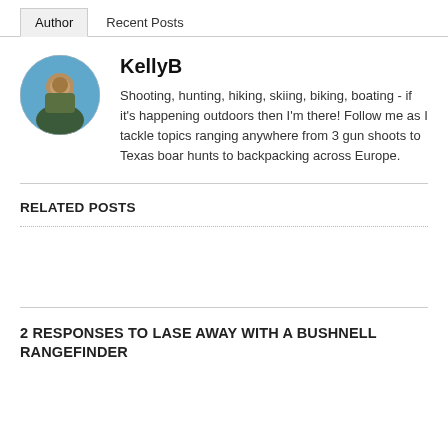Author | Recent Posts
KellyB
Shooting, hunting, hiking, skiing, biking, boating - if it's happening outdoors then I'm there! Follow me as I tackle topics ranging anywhere from 3 gun shoots to Texas boar hunts to backpacking across Europe.
RELATED POSTS
2 RESPONSES TO LASE AWAY WITH A BUSHNELL RANGEFINDER